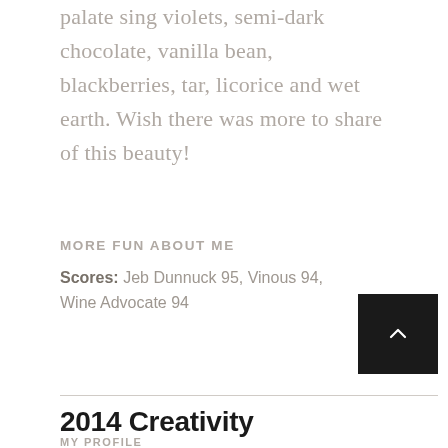palate sing violets, semi-dark chocolate, vanilla bean, blackberries, tar, licorice and wet earth. Wish there was more to share of this beauty!
MORE FUN ABOUT ME
Scores: Jeb Dunnuck 95, Vinous 94, Wine Advocate 94
2014 Creativity
MY PROFILE